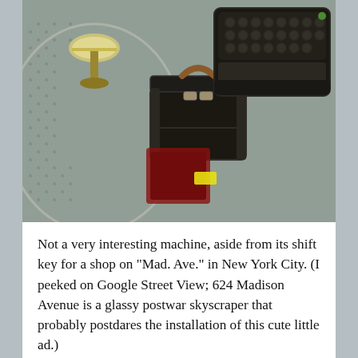[Figure (photo): Top-down photo of a vintage typewriter with a small suitcase/briefcase and a metallic goblet/chalice on a dotted/perforated surface.]
Not a very interesting machine, aside from its shift key for a shop on "Mad. Ave." in New York City. (I peeked on Google Street View; 624 Madison Avenue is a glassy postwar skyscraper that probably postdares the installation of this cute little ad.)
[Figure (photo): Close-up photo of a round metal tin or container lid with an embossed yin-yang or decorative symbol, on a dark wooden surface.]